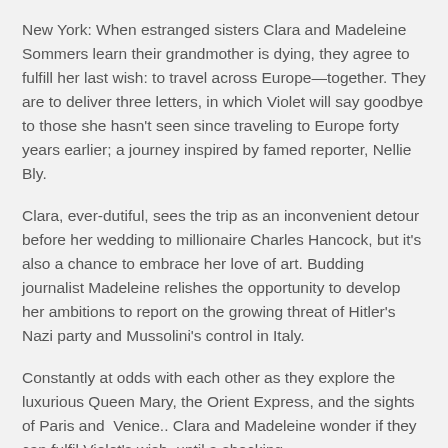New York: When estranged sisters Clara and Madeleine Sommers learn their grandmother is dying, they agree to fulfill her last wish: to travel across Europe—together. They are to deliver three letters, in which Violet will say goodbye to those she hasn't seen since traveling to Europe forty years earlier; a journey inspired by famed reporter, Nellie Bly.
Clara, ever-dutiful, sees the trip as an inconvenient detour before her wedding to millionaire Charles Hancock, but it's also a chance to embrace her love of art. Budding journalist Madeleine relishes the opportunity to develop her ambitions to report on the growing threat of Hitler's Nazi party and Mussolini's control in Italy.
Constantly at odds with each other as they explore the luxurious Queen Mary, the Orient Express, and the sights of Paris and Venice.. Clara and Madeleine wonder if they can fulfil Violet's wish, until a shocking